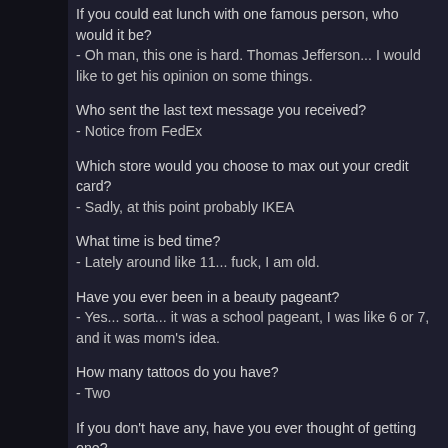If you could eat lunch with one famous person, who would it be?
- Oh man, this one is hard. Thomas Jefferson... I would like to get his opinion on some things.
Who sent the last text message you received?
- Notice from FedEx
Which store would you choose to max out your credit card?
- Sadly, at this point probably IKEA
What time is bed time?
- Lately around like 11... fuck, I am old.
Have you ever been in a beauty pageant?
- Yes... sorta... it was a school pageant, I was like 6 or 7, and it was mom's idea.
How many tattoos do you have?
- Two
If you don't have any, have you ever thought of getting one?
- I kinda want another, or at least to have this one fixed
What did you do for your last birthday?
- The night before, went to dinner with friends. Ben told me he didn't want to go because the place I